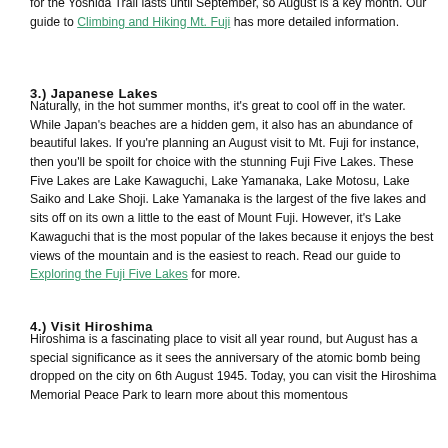for the Yoshida Trail lasts until September, so August is a key month. Our guide to Climbing and Hiking Mt. Fuji has more detailed information.
3.) Japanese Lakes
Naturally, in the hot summer months, it's great to cool off in the water. While Japan's beaches are a hidden gem, it also has an abundance of beautiful lakes. If you're planning an August visit to Mt. Fuji for instance, then you'll be spoilt for choice with the stunning Fuji Five Lakes. These Five Lakes are Lake Kawaguchi, Lake Yamanaka, Lake Motosu, Lake Saiko and Lake Shoji. Lake Yamanaka is the largest of the five lakes and sits off on its own a little to the east of Mount Fuji. However, it's Lake Kawaguchi that is the most popular of the lakes because it enjoys the best views of the mountain and is the easiest to reach. Read our guide to Exploring the Fuji Five Lakes for more.
4.) Visit Hiroshima
Hiroshima is a fascinating place to visit all year round, but August has a special significance as it sees the anniversary of the atomic bomb being dropped on the city on 6th August 1945. Today, you can visit the Hiroshima Memorial Peace Park to learn more about this momentous